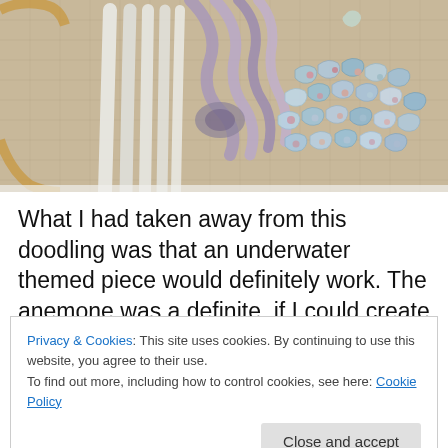[Figure (photo): Close-up photograph of ribbon embroidery work on burlap/linen fabric, showing lavender/grey ribbon twisted into a flower bud shape, white ribbon left unworked, and blue floral ribbon embroidery clusters on the right side, held in an embroidery hoop]
What I had taken away from this doodling was that an underwater themed piece would definitely work. The anemone was a definite, if I could create a smoother body
Privacy & Cookies: This site uses cookies. By continuing to use this website, you agree to their use.
To find out more, including how to control cookies, see here: Cookie Policy
Close and accept
...a cleaner look. And a few other things I liked. Similar...